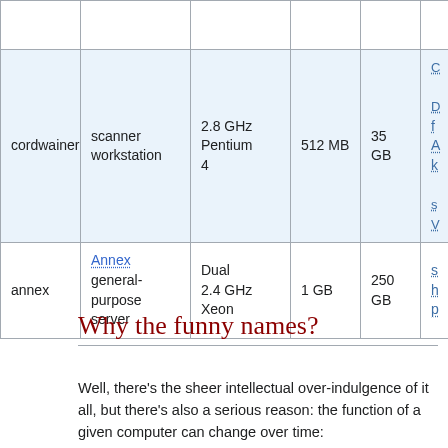|  |  |  |  |  |  |
| --- | --- | --- | --- | --- | --- |
|  |  |  |  |  |  |
| cordwainer | scanner workstation | 2.8 GHz Pentium 4 | 512 MB | 35 GB | … |
| annex | Annex general-purpose server | Dual 2.4 GHz Xeon | 1 GB | 250 GB | s h p |
Why the funny names?
Well, there's the sheer intellectual over-indulgence of it all, but there's also a serious reason: the function of a given computer can change over time: